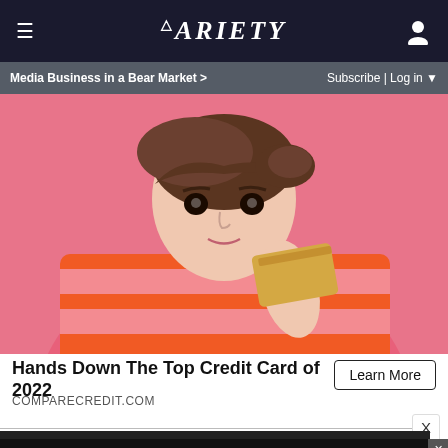VARIETY — Media Business in a Bear Market > | Subscribe | Log in
[Figure (photo): Young woman with brown hair holding a gold credit card up near her face, against a pink background, wearing an orange and pink striped top]
Hands Down The Top Credit Card of 2022
COMPARECREDIT.COM
Learn More
[Figure (screenshot): Bottom advertisement banner: ADJUSTABLE DUMBBELLS SPY TESTED & REVIEWED with SPY logo in yellow on black background]